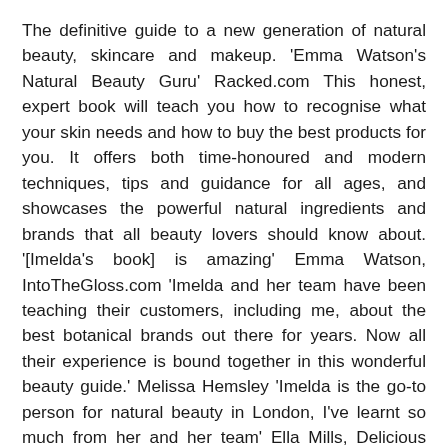The definitive guide to a new generation of natural beauty, skincare and makeup. 'Emma Watson's Natural Beauty Guru' Racked.com This honest, expert book will teach you how to recognise what your skin needs and how to buy the best products for you. It offers both time-honoured and modern techniques, tips and guidance for all ages, and showcases the powerful natural ingredients and brands that all beauty lovers should know about. '[Imelda's book] is amazing' Emma Watson, IntoTheGloss.com 'Imelda and her team have been teaching their customers, including me, about the best botanical brands out there for years. Now all their experience is bound together in this wonderful beauty guide.' Melissa Hemsley 'Imelda is the go-to person for natural beauty in London, I've learnt so much from her and her team' Ella Mills, Delicious Ella 'I can't put this book down #bestbeautytips' Tata Harper